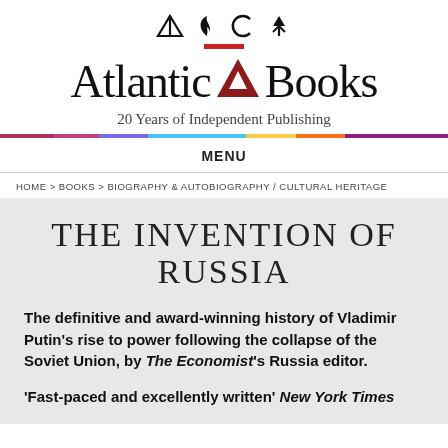[Figure (logo): Atlantic Books publisher logo with icons and brand name, 20 Years of Independent Publishing tagline]
MENU
HOME > BOOKS > BIOGRAPHY & AUTOBIOGRAPHY / CULTURAL HERITAGE
THE INVENTION OF RUSSIA
The definitive and award-winning history of Vladimir Putin's rise to power following the collapse of the Soviet Union, by The Economist's Russia editor.
'Fast-paced and excellently written' New York Times